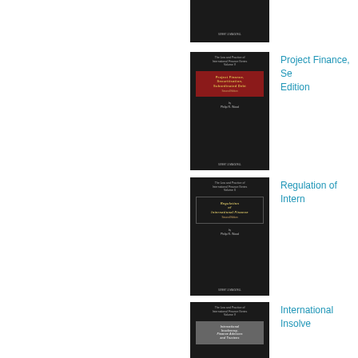[Figure (illustration): Book cover of a law series volume, dark background, top portion only visible]
[Figure (illustration): Book cover: Project Finance, Securitisation, Subordinated Debt, second edition, dark background with red title box]
Project Finance, Second Edition
[Figure (illustration): Book cover: Regulation of International Finance, second edition, dark background with bordered title box]
Regulation of International Finance
[Figure (illustration): Book cover: International Insolvency, Finance Advisors and Trustees, dark background with gray title box]
International Insolvency